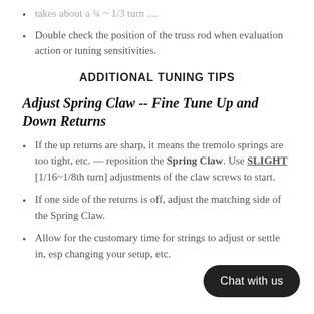takes about a 3/4~1/3 turn ....
Double check the position of the truss rod when evaluation action or tuning sensitivities.
ADDITIONAL TUNING TIPS
Adjust Spring Claw -- Fine Tune Up and Down Returns
If the up returns are sharp, it means the tremolo springs are too tight, etc. — reposition the Spring Claw. Use SLIGHT [1/16~1/8th turn] adjustments of the claw screws to start.
If one side of the returns is off, adjust the matching side of the Spring Claw.
Allow for the customary time for strings to adjust or settle in, esp changing your setup, etc.